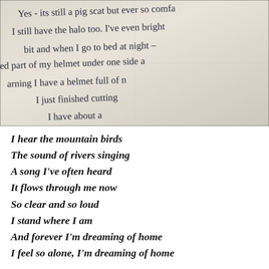[Figure (photo): A photograph of a handwritten letter on aged paper. The cursive handwriting in dark ink reads partial lines including: 'Yes - its still a pig scat but ever so comfa', 'I still have the halo too. I've even bright', 'bit and when I go to bed at night', 'ed part of my helmet under one side a', 'arning I have a helmet full of n', 'I just finished cutting', 'I have about a']
I hear the mountain birds
The sound of rivers singing
A song I’ve often heard
It flows through me now
So clear and so loud
I stand where I am
And forever I’m dreaming of home
I feel so alone, I’m dreaming of home